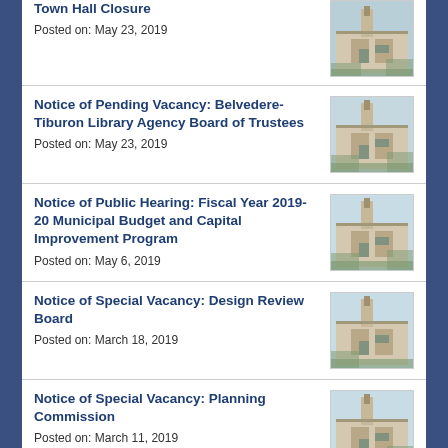Town Hall Closure
Posted on: May 23, 2019
Notice of Pending Vacancy: Belvedere-Tiburon Library Agency Board of Trustees
Posted on: May 23, 2019
Notice of Public Hearing: Fiscal Year 2019-20 Municipal Budget and Capital Improvement Program
Posted on: May 6, 2019
Notice of Special Vacancy: Design Review Board
Posted on: March 18, 2019
Notice of Special Vacancy: Planning Commission
Posted on: March 11, 2019